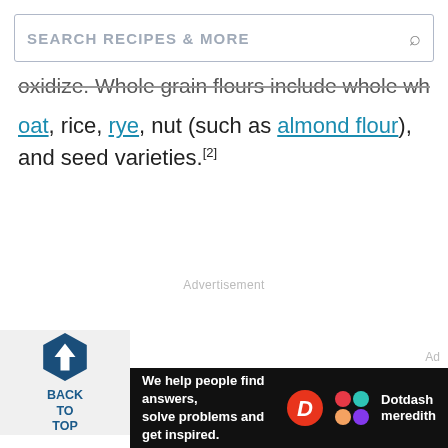SEARCH RECIPES & MORE
oxidize. Whole grain flours include whole wheat, oat, rice, rye, nut (such as almond flour), and seed varieties.[2]
Advertisement
[Figure (other): Back to Top button with hexagonal upward arrow icon and text BACK TO TOP]
Ad
[Figure (other): Dotdash Meredith advertisement banner: We help people find answers, solve problems and get inspired. With D logo and colorful Dotdash Meredith logo.]